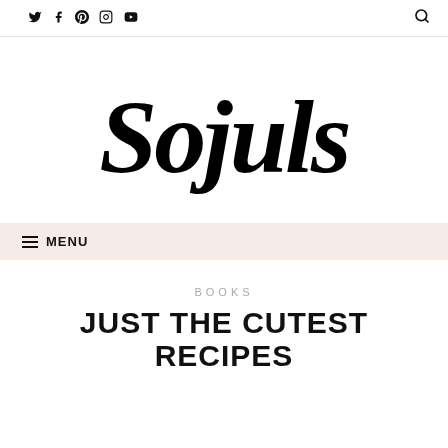Social icons: Twitter, Facebook, Pinterest, Instagram, YouTube | Search
[Figure (logo): Sojuls cursive script logo in black ink on white background]
≡ MENU
BOOKS
JUST THE CUTEST RECIPES